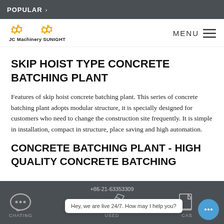POPULAR >
[Figure (logo): JC Machinery SUNIGHT logo with orange gear/cog icons above text]
SKIP HOIST TYPE CONCRETE BATCHING PLANT
Features of skip hoist concrete batching plant. This series of concrete batching plant adopts modular structure, it is specially designed for customers who need to change the construction site frequently. It is simple in installation, compact in structure, place saving and high automation.
CONCRETE BATCHING PLANT - HIGH QUALITY CONCRETE BATCHING
+86-21-63353309  CHATING  USED  CAS  Hey, we are live 24/7. How may I help you?